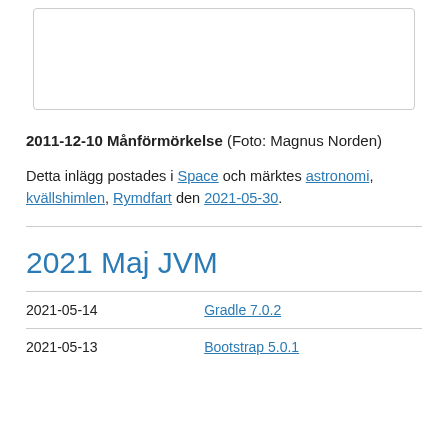[Figure (photo): Partial view of a photo (likely a lunar eclipse image), shown as a bordered box at the top of the page.]
2011-12-10 Månförmörkelse (Foto: Magnus Norden)
Detta inlägg postades i Space och märktes astronomi, kvällshimlen, Rymdfart den 2021-05-30.
2021 Maj JVM
| 2021-05-14 | Gradle 7.0.2 |
| 2021-05-13 | Bootstrap 5.0.1 |